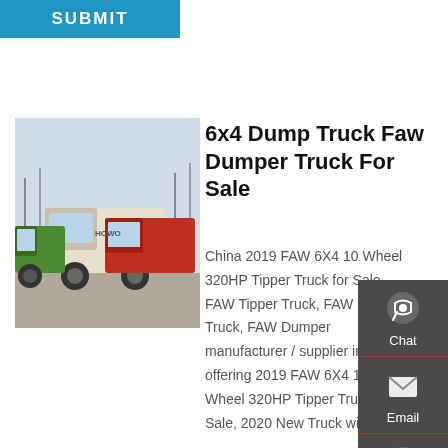[Figure (other): Blue SUBMIT button at top left]
[Figure (photo): Photo of multiple heavy-duty dump trucks parked outdoors, including white/cream and green/red colored trucks]
6x4 Dump Truck Faw Dumper Truck For Sale
China 2019 FAW 6X4 10 Wheel 320HP Tipper Truck for Sale, FAW Tipper Truck, FAW Dump Truck, FAW Dumper manufacturer / supplier in China, offering 2019 FAW 6X4 10 Wheel 320HP Tipper Truck for Sale, 2020 New Truck with Good
[Figure (other): Side panel with Chat, Email, Contact, and Top navigation icons on dark gray background]